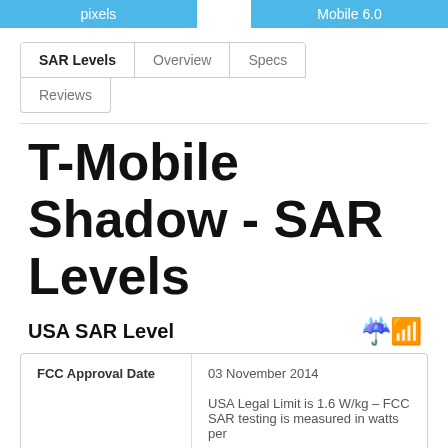pixels | Mobile 6.0
SAR Levels | Overview | Specs | Reviews
T-Mobile Shadow - SAR Levels
USA SAR Level
|  |  |
| --- | --- |
| FCC Approval Date | 03 November 2014 |
|  | USA Legal Limit is 1.6 W/kg – FCC SAR testing is measured in watts per |